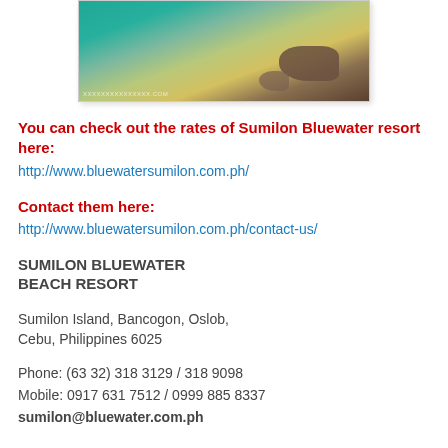[Figure (photo): Underwater/aerial photo of coral reef and ocean water with turquoise color, showing rocks and marine vegetation]
You can check out the rates of Sumilon Bluewater resort here:
http://www.bluewatersumilon.com.ph/
Contact them here:
http://www.bluewatersumilon.com.ph/contact-us/
SUMILON BLUEWATER BEACH RESORT
Sumilon Island, Bancogon, Oslob,
Cebu, Philippines 6025
Phone: (63 32) 318 3129 / 318 9098
Mobile: 0917 631 7512 / 0999 885 8337
sumilon@bluewater.com.ph
MANILA SALES OFFICE